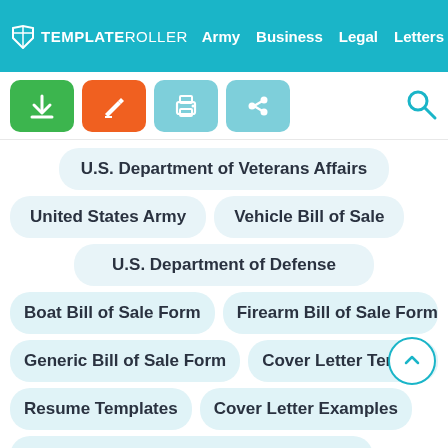TemplateRoller — Army | Business | Legal | Letters | Life
[Figure (screenshot): Toolbar with download (green), edit (orange), print (teal), share (teal) buttons and search icon]
U.S. Department of Veterans Affairs
United States Army
Vehicle Bill of Sale
U.S. Department of Defense
Boat Bill of Sale Form
Firearm Bill of Sale Form
Generic Bill of Sale Form
Cover Letter Template
Resume Templates
Cover Letter Examples
U.S. Department of the Treasury - Internal